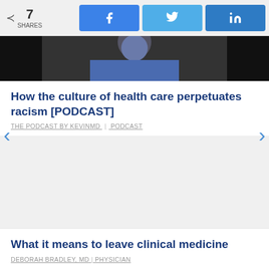7 SHARES
[Figure (photo): Cropped photo of a person in blue clothing against a dark background]
How the culture of health care perpetuates racism [PODCAST]
THE PODCAST BY KEVINMD | PODCAST
What it means to leave clinical medicine
DEBORAH BRADLEY, MD | PHYSICIAN